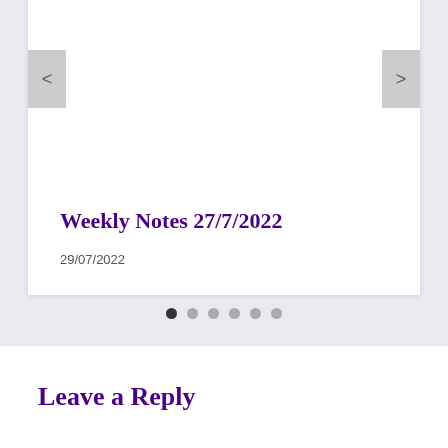[Figure (screenshot): Slider navigation card with left and right arrow buttons (< and >) on a white background card area]
Weekly Notes 27/7/2022
29/07/2022
[Figure (other): Carousel dot navigation indicator: 6 dots, first dot filled dark, remaining 5 dots grey]
Leave a Reply